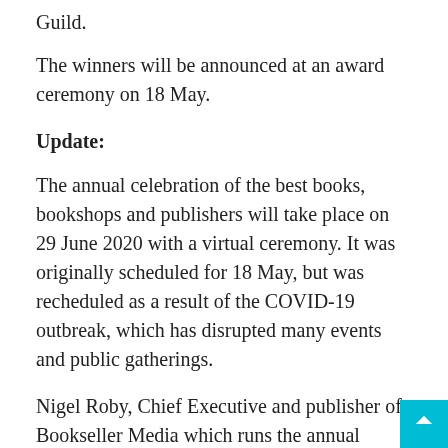Guild.
The winners will be announced at an award ceremony on 18 May.
Update:
The annual celebration of the best books, bookshops and publishers will take place on 29 June 2020 with a virtual ceremony. It was originally scheduled for 18 May, but was rescheduled as a result of the COVID-19 outbreak, which has disrupted many events and public gatherings.
Nigel Roby, Chief Executive and publisher of Bookseller Media which runs the annual event, said: “We have been able to assess how organisations like BAFTA have created compelling virtual awards and I am sure that we will have a format that is going to engage everyone from our fantastic shortlisted indie bookshops to our celebrated authors and to the book-buying public”.